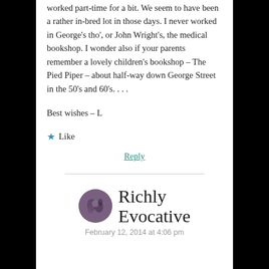worked part-time for a bit. We seem to have been a rather in-bred lot in those days. I never worked in George's tho', or John Wright's, the medical bookshop. I wonder also if your parents remember a lovely children's bookshop – The Pied Piper – about half-way down George Street in the 50's and 60's. . . .
Best wishes – L
★ Like
Reply
Richly Evocative
February 12, 2014 at 4:06 pm